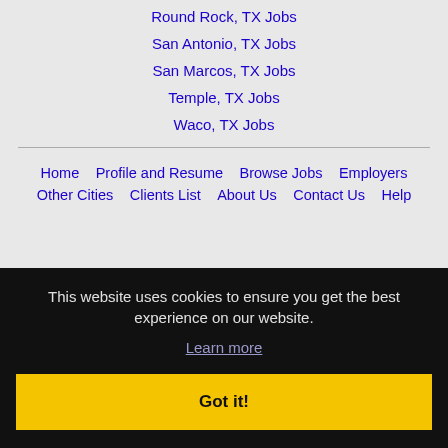Round Rock, TX Jobs
San Antonio, TX Jobs
San Marcos, TX Jobs
Temple, TX Jobs
Waco, TX Jobs
Home | Profile and Resume | Browse Jobs | Employers | Other Cities | Clients List | About Us | Contact Us | Help
This website uses cookies to ensure you get the best experience on our website.
Learn more
Got it!